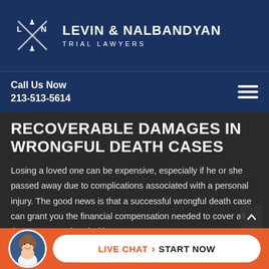[Figure (logo): Levin & Nalbandyan Trial Lawyers logo with crossed batons and chess piece]
LEVIN & NALBANDYAN TRIAL LAWYERS
Call Us Now 213-513-5614
RECOVERABLE DAMAGES IN WRONGFUL DEATH CASES
Losing a loved one can be expensive, especially if he or she passed away due to complications associated with a personal injury. The good news is that a successful wrongful death case can grant you the financial compensation needed to cover all the costs associated with you...
LIVE CHAT > START NOW